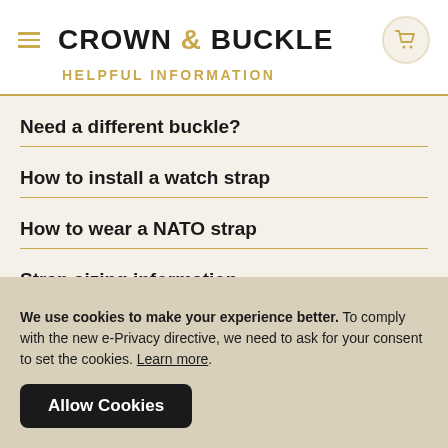CROWN & BUCKLE
HELPFUL INFORMATION
Need a different buckle?
How to install a watch strap
How to wear a NATO strap
Strap sizing information
We use cookies to make your experience better. To comply with the new e-Privacy directive, we need to ask for your consent to set the cookies. Learn more. Allow Cookies